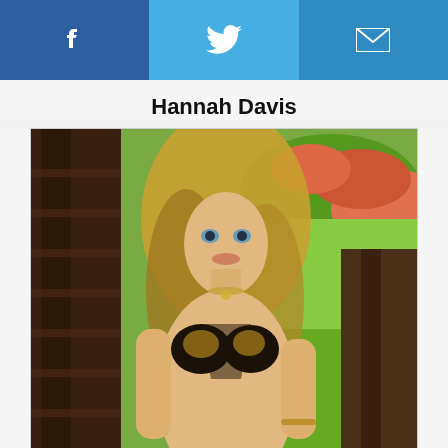Facebook | Twitter | Email
Hannah Davis
[Figure (photo): Photo of Hannah Davis, a blonde woman in a decorative black and gold bikini, posing outdoors in front of wooden structures with green and colorful garden background.]